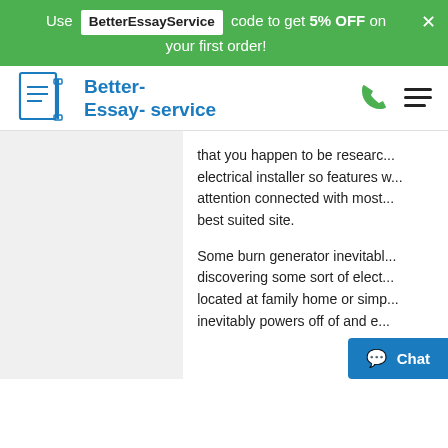Use BetterEssayService code to get 5% OFF on your first order!
[Figure (logo): Better-Essay-service logo with document and pen icon in blue]
that you happen to be researching electrical installer so features with attention connected with most best suited site.
Some burn generator inevitably discovering some sort of electrical located at family home or simply inevitably powers off of and ev...
[Figure (other): Chat button at bottom right corner]